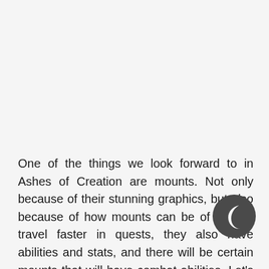One of the things we look forward to in Ashes of Creation are mounts. Not only because of their stunning graphics, but also because of how mounts can be of help to travel faster in quests, they also have abilities and stats, and there will be certain mounts that will have combat abilities. Let's cover with everything you need to know about mounts in Ashes of Creation!
[Figure (logo): Dark circular icon with a crescent moon shape (Crescent app icon)]